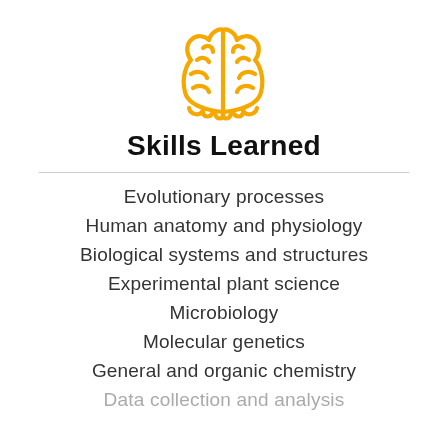[Figure (illustration): Golden/yellow brain icon, symmetrical, outline style with two hemispheres and folds depicted]
Skills Learned
Evolutionary processes
Human anatomy and physiology
Biological systems and structures
Experimental plant science
Microbiology
Molecular genetics
General and organic chemistry
Data collection and analysis (partially visible)